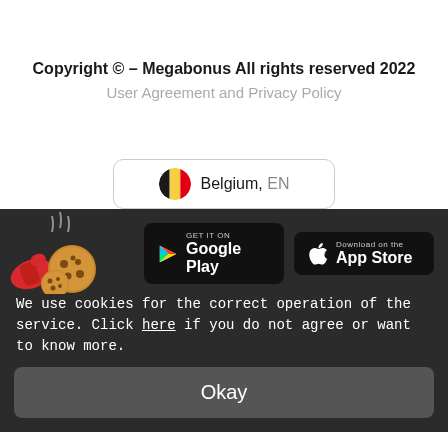Copyright © – Megabonus All rights reserved 2022
User Agreement and Privacy Policy
[Figure (other): Belgium flag and locale selector button showing 'Belgium, EN']
[Figure (other): Cookie illustration with cookies and oven mitt, Google Play and App Store download buttons on dark background]
We use cookies for the correct operation of the service. Click here if you do not agree or want to know more.
Okay